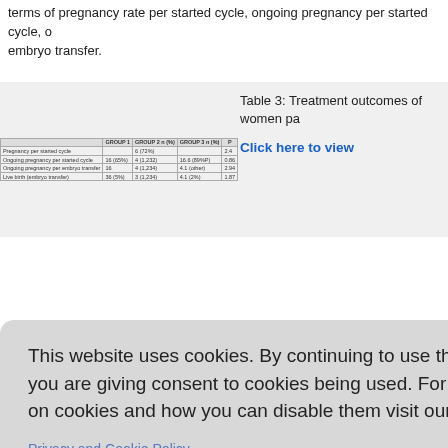terms of pregnancy rate per started cycle, ongoing pregnancy per started cycle, on embryo transfer.
|  | GROUP 1 | GROUP 2 n (%) | GROUP 3 n (%) | P |
| --- | --- | --- | --- | --- |
| Pregnancy per started cycle |  | 6 (72%) |  | 2.4 |
| Ongoing pregnancy per started cycle | 16 (65%) | 4 (1,232) | 16.6 (89%P) | 0.86 |
| Ongoing pregnancy per embryo transfer | 16 | 4 (1,234) | 4.1 (other) | 2.94 |
| Live birth (embryo transfer) | 36 (5%) | 3 (1,234) | 4.1 (2%) | 1.87 |
Table 3: Treatment outcomes of women pa...
Discussion
This website uses cookies. By continuing to use this website you are giving consent to cookies being used. For information on cookies and how you can disable them visit our
Privacy and Cookie Policy.
AGREE & PROCEED
tcomes of 1... y significant ... y per embryo...
e of the gen... ent results in... aphic locatio...
ted on the F... e important: ...
polymorphi...
random combination of alleles) between them. The fact that both polymorphisms